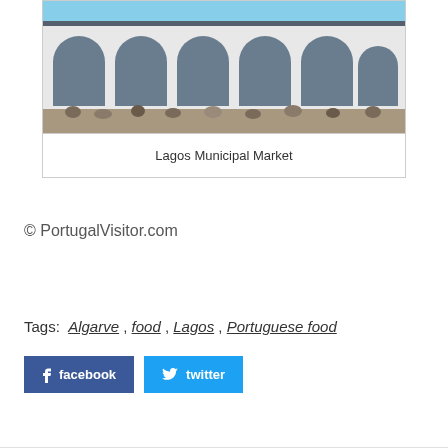[Figure (photo): Photograph of Lagos Municipal Market building - white facade with arched windows and blue-grey trim, crowd of people in front]
Lagos Municipal Market
© PortugalVisitor.com
Tags: Algarve , food , Lagos , Portuguese food
facebook   twitter